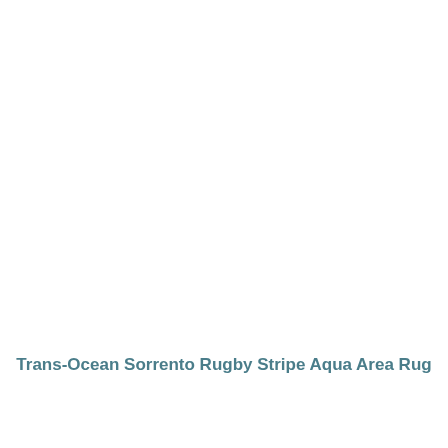Trans-Ocean Sorrento Rugby Stripe Aqua Area Rug